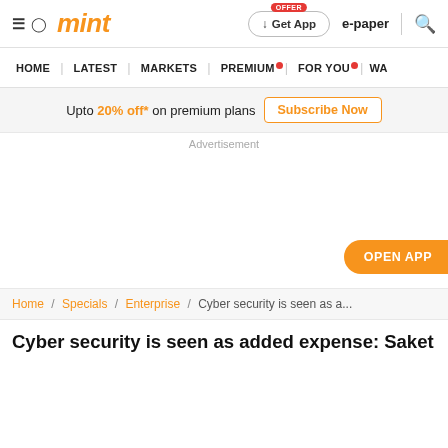≡ 𝛼 mint | OFFER Get App | e-paper | 🔍
HOME | LATEST | MARKETS | PREMIUM • | FOR YOU • | WA
Upto 20% off* on premium plans  Subscribe Now
Advertisement
OPEN APP
Home / Specials / Enterprise / Cyber security is seen as a...
Cyber security is seen as added expense: Saket